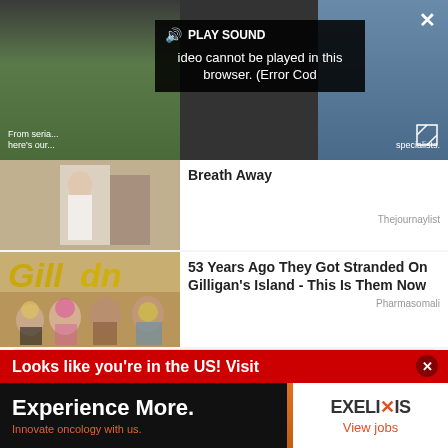[Figure (screenshot): Video player showing error overlay: 'Video cannot be played in this browser. (Error Cod' with PLAY SOUND button, close X, and expand icon. Background shows soccer field on left and person on right.]
From serial... here's our...
specialists.
Breath Away
Thejournaylist
[Figure (photo): Photo of wedding couple]
53 Years Ago They Got Stranded On Gilligan's Island - This Is Them Now
Pharmasomali
[Figure (photo): Photo of Gilligan's Island cast members wearing leis in front of Gillette sign]
Looks like you're in the US! Visit
Experience More.
Innovate oncology with us.
EXELIXIS View jobs